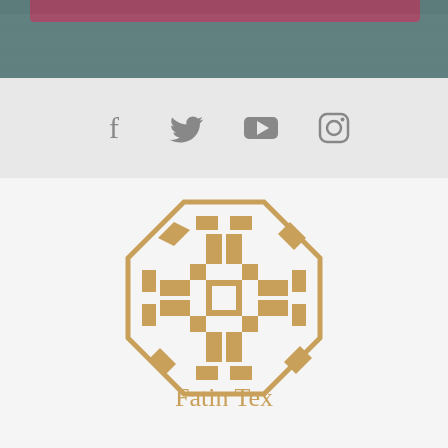[Figure (photo): Top image area with dark teal/grey background and a pink/hot-pink horizontal bar near the top]
[Figure (infographic): Social media icons: Facebook, Twitter, YouTube, Instagram in grey on a light grey background]
[Figure (logo): Fatin Tex company logo — an ornate golden geometric interlaced knot pattern inside an octagonal border]
Fatin Tex